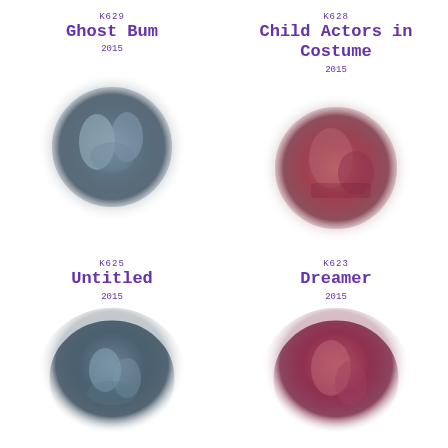[Figure (illustration): Circular vignette illustration of ghostly figures, blue-grey tones]
K629
Ghost Bum
2015
[Figure (illustration): Circular vignette illustration of child actors in costume, red-pink tones]
K628
Child Actors in Costume
2015
[Figure (illustration): Circular vignette illustration, blue-grey tones, abstract figures]
K625
Untitled
2015
[Figure (illustration): Circular vignette illustration, red-pink dreamer figure]
K623
Dreamer
2015
[Figure (illustration): Circular vignette illustration, dark trees, partial view at bottom]
[Figure (illustration): Circular vignette illustration, blue-dark tones, partial view at bottom]